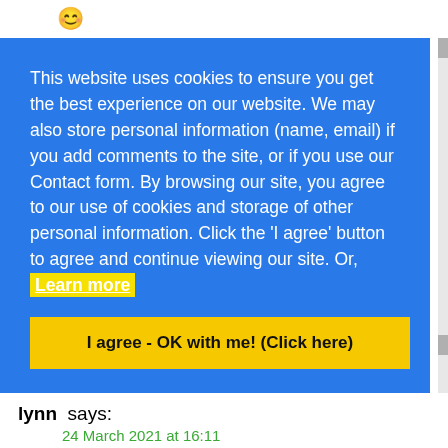[Figure (illustration): Smiley face emoji icon in top-left corner]
This website uses cookies to ensure you get the best experience on our website. We may also store personal information (name, email) if you add comments to the site, or if you use our Contact form. By browsing our site, you agree to our use of cookies and storage of other personal information. Click the 'I agree' button to agree and continue viewing our site. Or, Learn more
I agree - OK with me! (Click here)
lynn says:
24 March 2021 at 16:11
“Oh Gi...